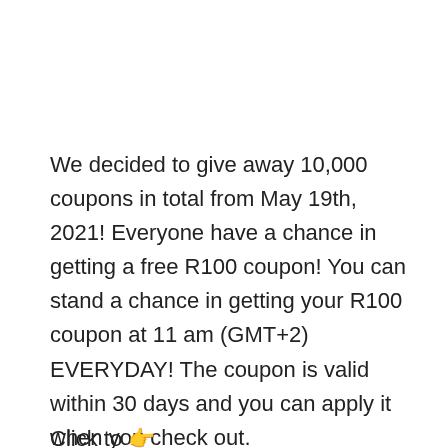We decided to give away 10,000 coupons in total from May 19th, 2021! Everyone have a chance in getting a free R100 coupon! You can stand a chance in getting your R100 coupon at 11 am (GMT+2) EVERYDAY! The coupon is valid within 30 days and you can apply it when you check out.
Click to 👉 https://bit.ly/3OOG... F...